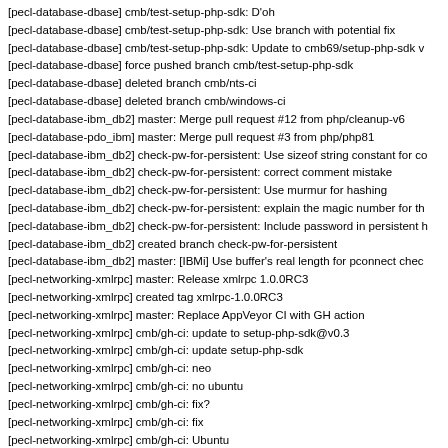[pecl-database-dbase] cmb/test-setup-php-sdk: D'oh
[pecl-database-dbase] cmb/test-setup-php-sdk: Use branch with potential fix
[pecl-database-dbase] cmb/test-setup-php-sdk: Update to cmb69/setup-php-sdk v
[pecl-database-dbase] force pushed branch cmb/test-setup-php-sdk
[pecl-database-dbase] deleted branch cmb/nts-ci
[pecl-database-dbase] deleted branch cmb/windows-ci
[pecl-database-ibm_db2] master: Merge pull request #12 from php/cleanup-v6
[pecl-database-pdo_ibm] master: Merge pull request #3 from php/php81
[pecl-database-ibm_db2] check-pw-for-persistent: Use sizeof string constant for co
[pecl-database-ibm_db2] check-pw-for-persistent: correct comment mistake
[pecl-database-ibm_db2] check-pw-for-persistent: Use murmur for hashing
[pecl-database-ibm_db2] check-pw-for-persistent: explain the magic number for th
[pecl-database-ibm_db2] check-pw-for-persistent: Include password in persistent h
[pecl-database-ibm_db2] created branch check-pw-for-persistent
[pecl-database-ibm_db2] master: [IBMi] Use buffer's real length for pconnect chec
[pecl-networking-xmlrpc] master: Release xmlrpc 1.0.0RC3
[pecl-networking-xmlrpc] created tag xmlrpc-1.0.0RC3
[pecl-networking-xmlrpc] master: Replace AppVeyor CI with GH action
[pecl-networking-xmlrpc] cmb/gh-ci: update to setup-php-sdk@v0.3
[pecl-networking-xmlrpc] cmb/gh-ci: update setup-php-sdk
[pecl-networking-xmlrpc] cmb/gh-ci: neo
[pecl-networking-xmlrpc] cmb/gh-ci: no ubuntu
[pecl-networking-xmlrpc] cmb/gh-ci: fix?
[pecl-networking-xmlrpc] cmb/gh-ci: fix
[pecl-networking-xmlrpc] cmb/gh-ci: Ubuntu
[pecl-networking-xmlrpc] cmb/gh-ci: show skipped tests
[pecl-networking-xmlrpc] cmb/gh-ci: oh